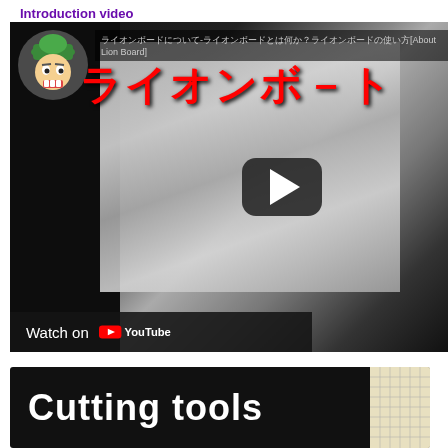Introduction video
[Figure (screenshot): YouTube video thumbnail showing a Japanese YouTube video titled about Lion Board (ライオンボード) with a cartoon avatar wearing a green hat, large red Japanese katakana text, a play button overlay, and a 'Watch on YouTube' bar at the bottom.]
[Figure (screenshot): Second YouTube video thumbnail with black background showing white bold text 'Cutting tools' and a partial view of a grid/cutting mat on the right.]